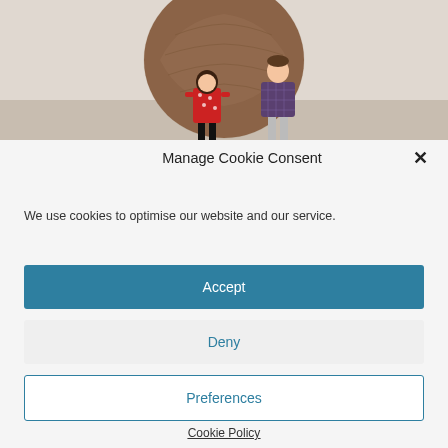[Figure (photo): Two young children standing in front of a large spherical brick/stone sculpture in a museum or gallery setting. One child wears a red polka-dot dress with black tights, the other wears a plaid shirt and grey trousers.]
Manage Cookie Consent
We use cookies to optimise our website and our service.
Accept
Deny
Preferences
Cookie Policy